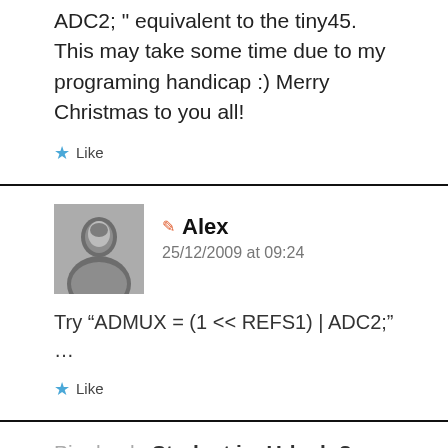ADC2; " equivalent to the tiny45. This may take some time due to my programing handicap :) Merry Christmas to you all!
★ Like
✏ Alex
25/12/2009 at 09:24
Try "ADMUX = (1 << REFS1) | ADC2;" ...
★ Like
Pingback: Student im Urlaub ? » Ein Weihnachtsgeschenk 2009